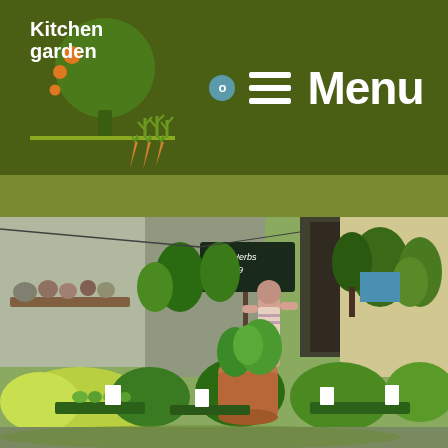[Figure (logo): Kitchen Garden logo: stylized tree with orange dots and green plant illustration on dark olive background]
Menu
[Figure (photo): Outdoor garden market with lush green plants, herbs in pots, a chalkboard sign reading 'Large Herbs (3) £5.99', and a person browsing among the plants]